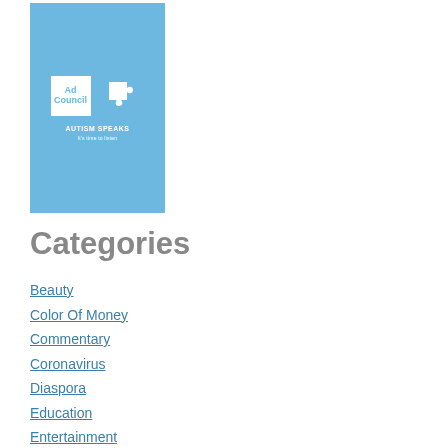[Figure (logo): Blue rectangle containing Ad Council logo and Autism Speaks puzzle piece logo with text 'AUTISM SPEAKS It's time to listen']
Categories
Beauty
Color Of Money
Commentary
Coronavirus
Diaspora
Education
Entertainment
Food And Beverage